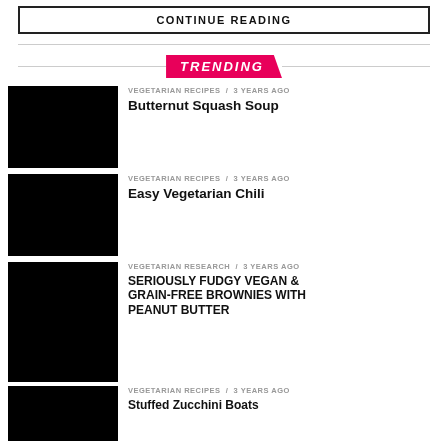CONTINUE READING
TRENDING
VEGETARIAN RECIPES / 3 years ago
Butternut Squash Soup
VEGETARIAN RECIPES / 3 years ago
Easy Vegetarian Chili
VEGETARIAN RESEARCH / 3 years ago
SERIOUSLY FUDGY VEGAN & GRAIN-FREE BROWNIES WITH PEANUT BUTTER
VEGETARIAN RECIPES / 3 years ago
Stuffed Zucchini Boats